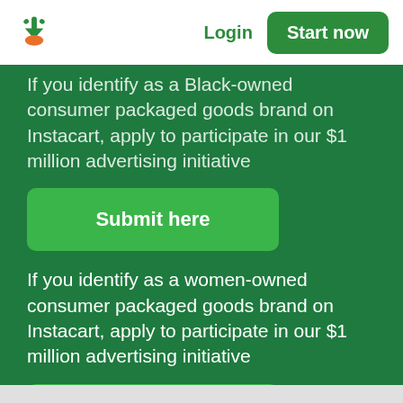Login | Start now
If you identify as a Black-owned consumer packaged goods brand on Instacart, apply to participate in our $1 million advertising initiative
Submit here
If you identify as a women-owned consumer packaged goods brand on Instacart, apply to participate in our $1 million advertising initiative
Submit here